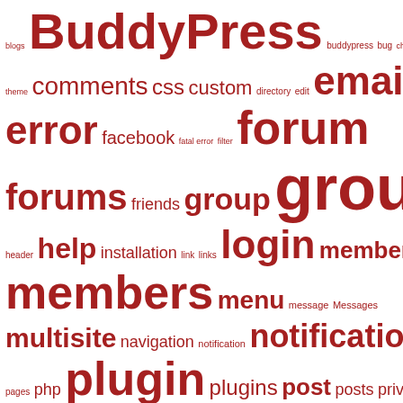[Figure (infographic): Word cloud of BuddyPress-related tags in various font sizes. Larger words indicate higher frequency/importance. Key terms include: BuddyPress, groups, profile, registration, theme, members, forums, plugin, login, forum, email, notifications, user, wordpress, xprofile, register, users, widget, widgets, multisite, members, menu, messages, navigation, notification, page, pages, php, plugins, post, posts, privacy, private, problem, Profile Fields, profiles, redirect, search, sidebar, spam, template, themes, update, upgrade, upload, URL, username, blogs, buddypress, bug, child, theme, comments, css, custom, directory, edit, error, facebook, fatal error, filter, friends, group, header, help, installation, link, links, member, message, Messages]